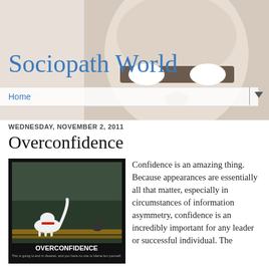[Figure (screenshot): Kynix Integrated Circuits Supplier advertisement banner with blue GET QUOTE button]
Sociopath World
[Figure (photo): Blurred human face with white mask-like appearance as website background header image]
Home
WEDNESDAY, NOVEMBER 2, 2011
Overconfidence
[Figure (photo): Motivational poster style image showing a white cat on a fence facing a bird, with caption OVERCONFIDENCE - This is going to end in disaster, and you have no one to blame but yourself.]
Confidence is an amazing thing. Because appearances are essentially all that matter, especially in circumstances of information asymmetry, confidence is an incredibly important for any leader or successful individual. The